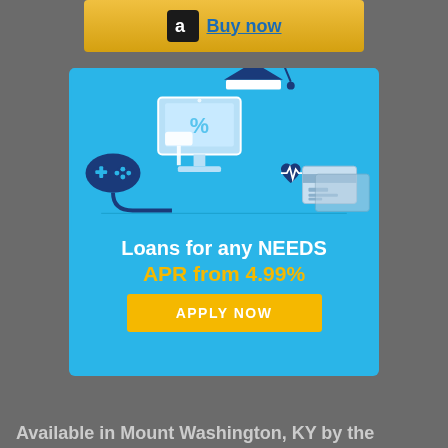[Figure (screenshot): Amazon 'Buy now' button bar with Amazon logo (black square with white 'a') and underlined 'Buy now' text link on a gold/yellow gradient background]
[Figure (infographic): Blue banner ad showing an illustration of a computer monitor with a graduation cap, game controller, heart rate monitor, and credit card. Text: 'Loans for any NEEDS', 'APR from 4.99%', and a yellow 'APPLY NOW' button.]
Available in Mount Washington, KY by the